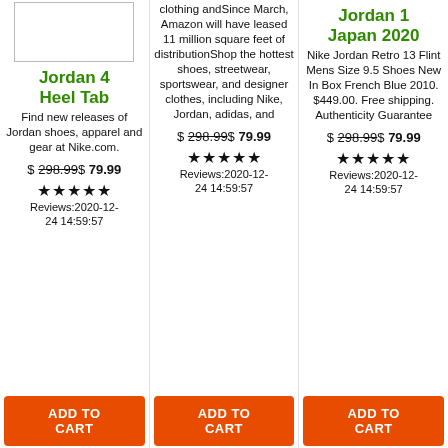[Figure (photo): Product image placeholder box for Jordan 4 Heel Tab]
Jordan 4 Heel Tab
Find new releases of Jordan shoes, apparel and gear at Nike.com.
$ 298.99$ 79.99
★★★★★ Reviews:2020-12-24 14:59:57
ADD TO CART
clothing andSince March, Amazon will have leased 11 million square feet of distributionShop the hottest shoes, streetwear, sportswear, and designer clothes, including Nike, Jordan, adidas, and
$ 298.99$ 79.99
★★★★★ Reviews:2020-12-24 14:59:57
ADD TO CART
Jordan 1 Japan 2020
Nike Jordan Retro 13 Flint Mens Size 9.5 Shoes New In Box French Blue 2010. $449.00. Free shipping. Authenticity Guarantee
$ 298.99$ 79.99
★★★★★ Reviews:2020-12-24 14:59:57
ADD TO CART